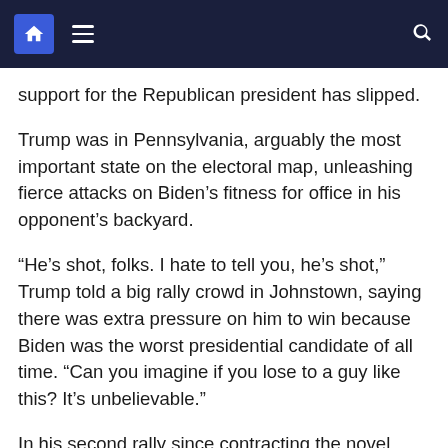Navigation bar with home icon, menu icon, and search icon
support for the Republican president has slipped.
Trump was in Pennsylvania, arguably the most important state on the electoral map, unleashing fierce attacks on Biden’s fitness for office in his opponent’s backyard.
“He’s shot, folks. I hate to tell you, he’s shot,” Trump told a big rally crowd in Johnstown, saying there was extra pressure on him to win because Biden was the worst presidential candidate of all time. “Can you imagine if you lose to a guy like this? It’s unbelievable.”
In his second rally since contracting the novel coronavirus, Trump spoke for more than an hour to thousands packed in tightly and mostly maskless. Like the night before in Florida, Trump seemed healthy, and his rhetoric on the pandemic — including the dubious claim that it was mostly a thing of the